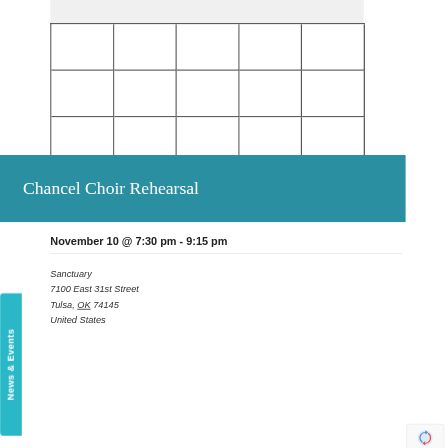[Figure (other): Calendar grid with white cells and dark gray borders, partially visible, showing 3 rows of 5 columns on a light gray background]
Chancel Choir Rehearsal
November 10 @ 7:30 pm - 9:15 pm
Sanctuary
7100 East 31st Street
Tulsa, OK 74145
United States